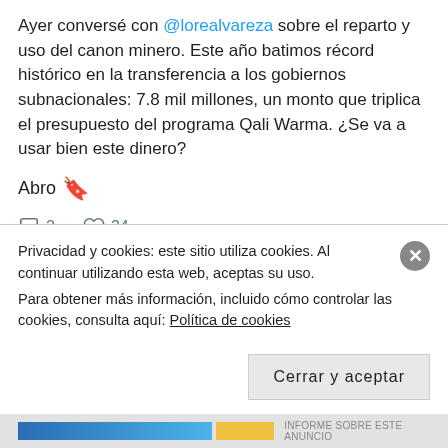Ayer conversé con @lorealvareza sobre el reparto y uso del canon minero. Este año batimos récord histórico en la transferencia a los gobiernos subnacionales: 7.8 mil millones, un monto que triplica el presupuesto del programa Qali Warma. ¿Se va a usar bien este dinero?
Abro 🔖
💬 2   ♡ 34
Kenneth Sánchez retwitteó
Jose Alejandro Godoy @jgodoym · 6h
Privacidad y cookies: este sitio utiliza cookies. Al continuar utilizando esta web, aceptas su uso.
Para obtener más información, incluido cómo controlar las cookies, consulta aquí: Política de cookies
Cerrar y aceptar